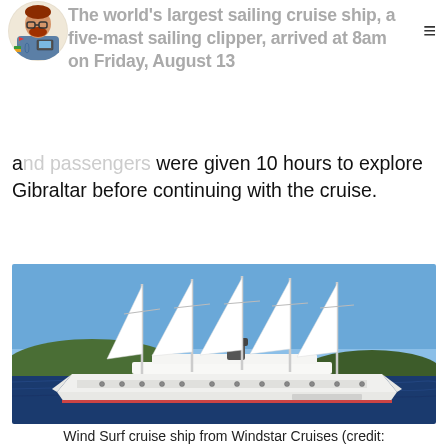The world's largest sailing cruise ship, a five-mast sailing clipper, arrived at 8am on Friday, August 13 and passengers were given 10 hours to explore Gibraltar before continuing with the cruise.
[Figure (photo): Wind Surf sailing cruise ship with five masts and white sails, at sea with green hills in background, blue sky]
Wind Surf cruise ship from Windstar Cruises (credit: